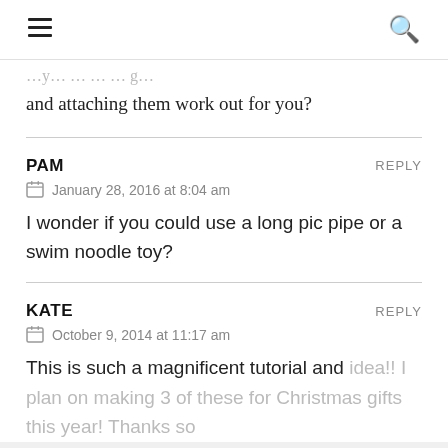≡  🔍
and attaching them work out for you?
PAM
January 28, 2016 at 8:04 am
I wonder if you could use a long pic pipe or a swim noodle toy?
KATE
October 9, 2014 at 11:17 am
This is such a magnificent tutorial and idea!! I plan on making 3 of these for Christmas gifts this year! Thanks so